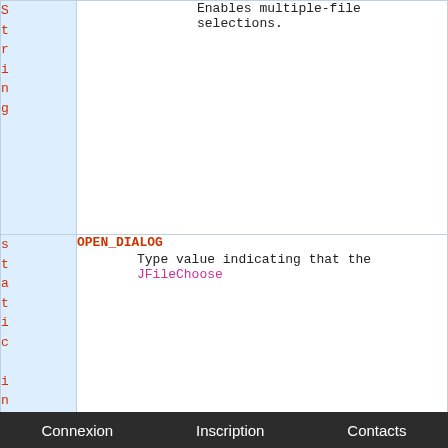| Type | Field / Description |
| --- | --- |
| String | Enables multiple-file selections. |
| static int | OPEN_DIALOG
Type value indicating that the JFileChooser... |
| static int | SAVE_DIALOG
Type value indicating that the JFileChooser... |
| static |  |
Connexion   Inscription   Contacts